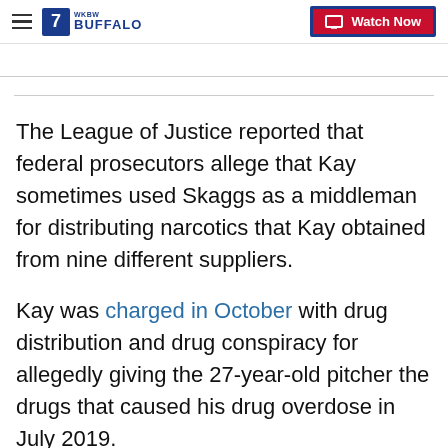7 WKBW BUFFALO | Watch Now
The League of Justice reported that federal prosecutors allege that Kay sometimes used Skaggs as a middleman for distributing narcotics that Kay obtained from nine different suppliers.
Kay was charged in October with drug distribution and drug conspiracy for allegedly giving the 27-year-old pitcher the drugs that caused his drug overdose in July 2019.